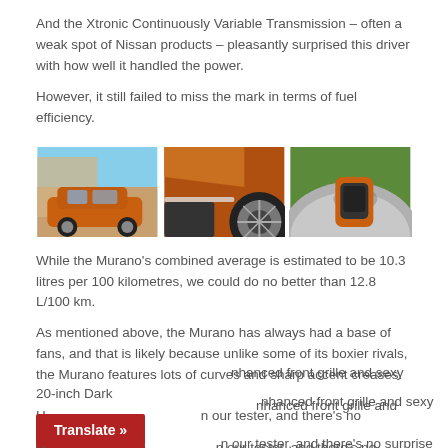And the Xtronic Continuously Variable Transmission – often a weak spot of Nissan products – pleasantly surprised this driver with how well it handled the power.
However, it still failed to miss the mark in terms of fuel efficiency.
[Figure (photo): Three photos of an orange Nissan Murano SUV: rear three-quarter view, close-up of front wheel/headlight, and aerial top-down view.]
While the Murano's combined average is estimated to be 10.3 litres per 100 kilometres, we could do no better than 12.8 L/100 km.
As mentioned above, the Murano has always had a base of fans, and that is likely because unlike some of its boxier rivals, the Murano features lots of curves and sharp accent creases.
... enhanced front grille and sexy 20-inch Dark H... on our tester, and there's no surprise that it